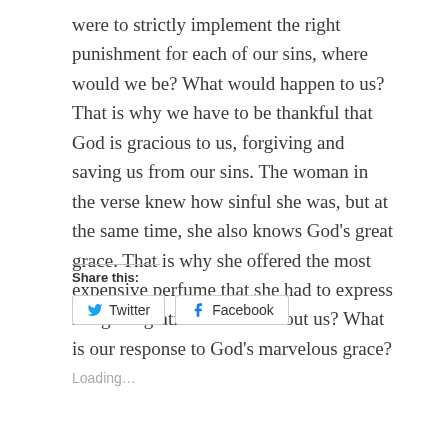were to strictly implement the right punishment for each of our sins, where would we be? What would happen to us? That is why we have to be thankful that God is gracious to us, forgiving and saving us from our sins. The woman in the verse knew how sinful she was, but at the same time, she also knows God’s great grace. That is why she offered the most expensive perfume that she had to express her great gratitude. What about us? What is our response to God’s marvelous grace?
Share this:
Twitter
Facebook
Loading...